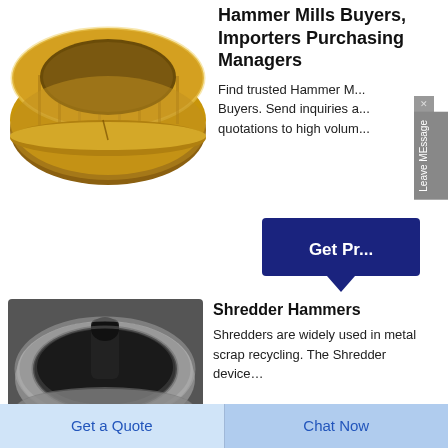[Figure (photo): Gold/brass colored hammer mill ring or bushing component viewed from above at an angle, showing metallic ring shape]
Hammer Mills Buyers, Importers Purchasing Managers
Find trusted Hammer M... Buyers. Send inquiries a... quotations to high volum...
[Figure (other): Get Price button (dark navy blue with downward arrow)]
[Figure (photo): Shredder hammer component, dark metallic cylindrical part viewed from above inside a metal casing]
Shredder Hammers
Shredders are widely used in metal scrap recycling. The Shredder device…
Get a Quote   Chat Now